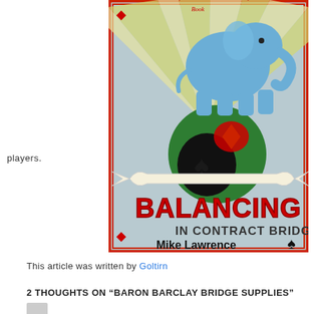players.
[Figure (illustration): Book cover for 'Balancing in Contract Bridge' by Mike Lawrence. Features a circus-style design with a blue elephant balancing on a globe decorated with card suit symbols (spade, heart, diamond, club). A banner ribbon displays 'BALANCING' in large red circus-style letters and 'IN CONTRACT BRIDGE' below. The author name 'Mike Lawrence' appears at the bottom. The cover has a red decorative border on a gray-blue background.]
This article was written by Goltirn
2 THOUGHTS ON “BARON BARCLAY BRIDGE SUPPLIES”